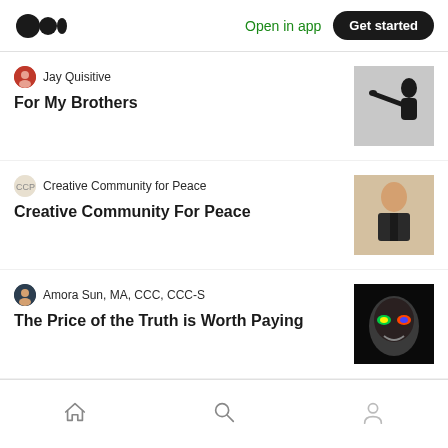Medium logo | Open in app | Get started
Jay Quisitive — For My Brothers
Creative Community for Peace — Creative Community For Peace
Amora Sun, MA, CCC, CCC-S — The Price of the Truth is Worth Paying
Mina Leazer — My Diversity Statement
Home | Search | Profile